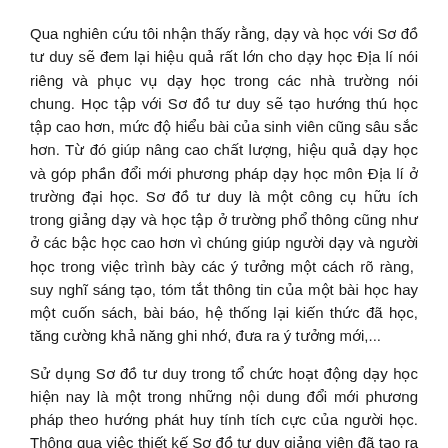Qua nghiên cứu tôi nhận thấy rằng, dạy và học với Sơ đồ tư duy sẽ đem lại hiệu quả rất lớn cho dạy học Địa lí nói riêng và phục vụ dạy học trong các nhà trường nói chung. Học tập với Sơ đồ tư duy sẽ tạo hướng thú học tập cao hơn, mức độ hiểu bài của sinh viên cũng sâu sắc hơn. Từ đó giúp nâng cao chất lượng, hiệu quả dạy học và góp phần đổi mới phương pháp dạy học môn Địa lí ở trường đại học. Sơ đồ tư duy là một công cụ hữu ích trong giảng dạy và học tập ở trường phổ thông cũng như ở các bậc học cao hơn vì chúng giúp người dạy và người học trong việc trình bày các ý tưởng một cách rõ ràng,  suy nghĩ sáng tạo, tóm tắt thông tin của một bài học hay một cuốn sách, bài báo, hệ thống lại kiến thức đã học, tăng cường khả năng ghi nhớ, đưa ra ý tưởng mới,...
Sử dụng Sơ đồ tư duy trong tổ chức hoạt động dạy học hiện nay là một trong những nội dung đổi mới phương pháp theo hướng phát huy tính tích cực của người học. Thông qua việc thiết kế Sơ đồ tư duy giảng viên đã tạo ra một hệ thống đối tác trong hoạt động dạy học và với phương tiện này việc dạy học sẽ nhẹ nhàng hơn, mang lại nhiều kết quả tốt và đáng khích lệ trong phương thức học.